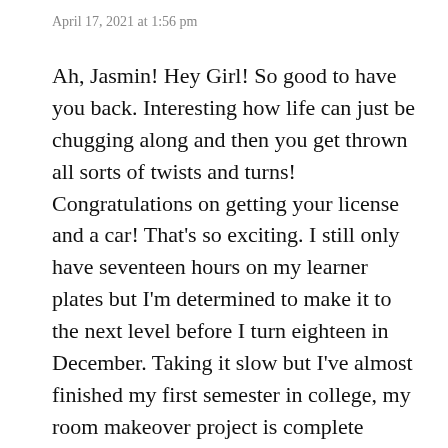April 17, 2021 at 1:56 pm
Ah, Jasmin! Hey Girl! So good to have you back. Interesting how life can just be chugging along and then you get thrown all sorts of twists and turns! Congratulations on getting your license and a car! That's so exciting. I still only have seventeen hours on my learner plates but I'm determined to make it to the next level before I turn eighteen in December. Taking it slow but I've almost finished my first semester in college, my room makeover project is complete except for taking my bed frame in (I've literally just been sleeping on the mattress hahah) and so on. So many changes though! Met my new stepmom for the first time this week. There for…